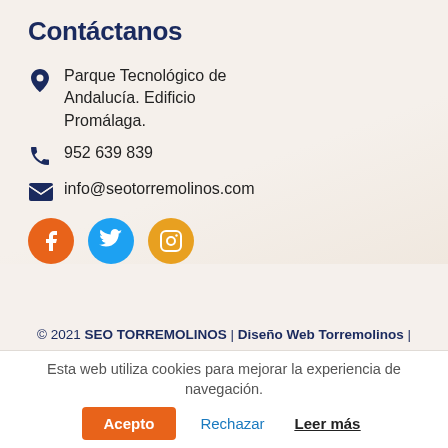Contáctanos
Parque Tecnológico de Andalucía. Edificio Promálaga.
952 639 839
info@seotorremolinos.com
[Figure (other): Social media icons: Facebook (orange circle), Twitter (blue circle), Instagram (yellow circle)]
© 2021 SEO TORREMOLINOS | Diseño Web Torremolinos |
Esta web utiliza cookies para mejorar la experiencia de navegación. Acepto  Rechazar  Leer más